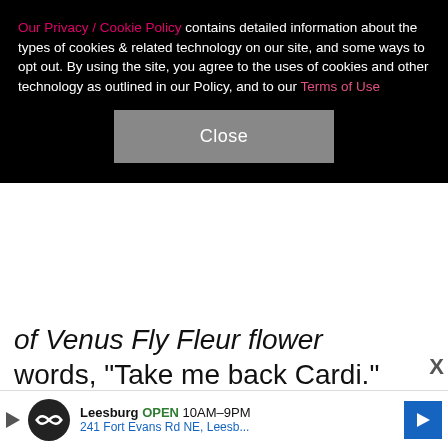Our Privacy / Cookie Policy contains detailed information about the types of cookies & related technology on our site, and some ways to opt out. By using the site, you agree to the uses of cookies and other technology as outlined in our Policy, and to our Terms of Use
Close
of Venus Fly Fleur flower arrangements spelling out the words, "Take me back Cardi." Said Offset to his stunned and annoyed-looking estranged missus, "I just want to tell you I'm sorry, bruh, in person, in front of the world. I love you. Whatever I gotta do to show you that, I will." The duo then lowered their microphones to exchange a few private words — the "Bodak Yellow" rapper's body language speaking volumes. The day after that, Offset took to Twitter to explain his major (but perhaps misguided) move: "All of my wrongs have been made
X
Leesburg OPEN 10AM–9PM 241 Fort Evans Rd NE, Leesb...